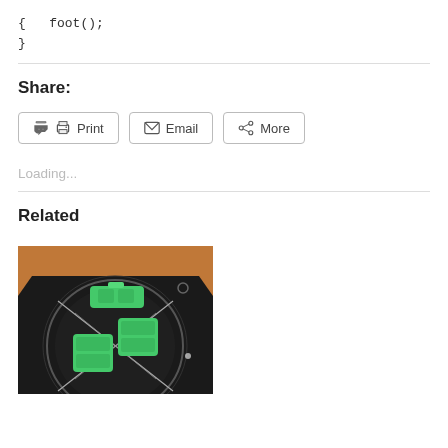{
   foot();
}
Share:
Print  Email  More
Loading...
Related
[Figure (photo): Photo of green 3D-printed keycap molds on a black circular platform with diagonal wire guides, sitting on a brown surface.]